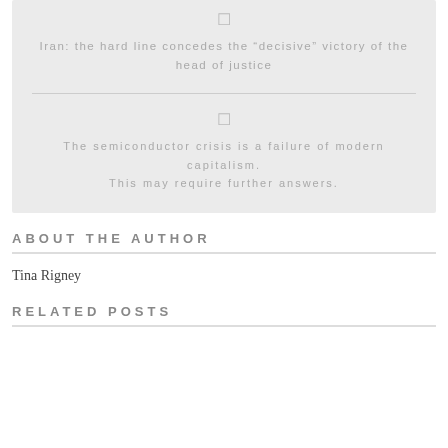[Figure (other): Card with icon placeholder and headline: Iran: the hard line concedes the 'decisive' victory of the head of justice]
Iran: the hard line concedes the “decisive” victory of the head of justice
[Figure (other): Card section with icon placeholder and text: The semiconductor crisis is a failure of modern capitalism. This may require further answers.]
The semiconductor crisis is a failure of modern capitalism. This may require further answers.
ABOUT THE AUTHOR
Tina Rigney
RELATED POSTS